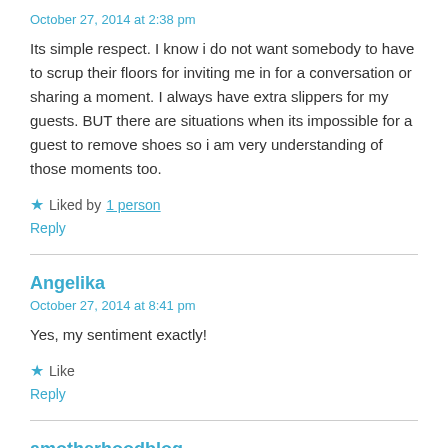October 27, 2014 at 2:38 pm
Its simple respect. I know i do not want somebody to have to scrup their floors for inviting me in for a conversation or sharing a moment. I always have extra slippers for my guests. BUT there are situations when its impossible for a guest to remove shoes so i am very understanding of those moments too.
★ Liked by 1 person
Reply
Angelika
October 27, 2014 at 8:41 pm
Yes, my sentiment exactly!
★ Like
Reply
amotherhoodblog